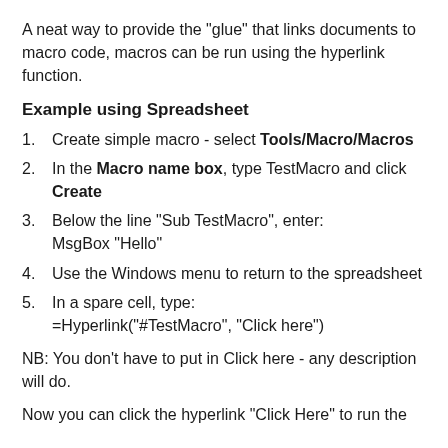A neat way to provide the "glue" that links documents to macro code, macros can be run using the hyperlink function.
Example using Spreadsheet
Create simple macro - select Tools/Macro/Macros
In the Macro name box, type TestMacro and click Create
Below the line "Sub TestMacro", enter:
MsgBox "Hello"
Use the Windows menu to return to the spreadsheet
In a spare cell, type:
=Hyperlink("#TestMacro", "Click here")
NB: You don't have to put in Click here - any description will do.
Now you can click the hyperlink "Click Here" to run the